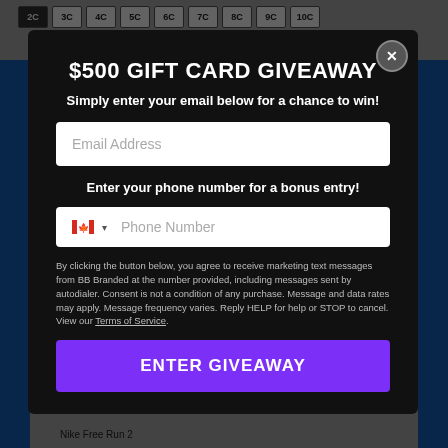$500 GIFT CARD GIVEAWAY
Simply enter your email below for a chance to win!
Email Address
Enter your phone number for a bonus entry!
Phone Number
By clicking the button below, you agree to receive marketing text messages from BB Branded at the number provided, including messages sent by autodialer. Consent is not a condition of any purchase. Message and data rates may apply. Message frequency varies. Reply HELP for help or STOP to cancel. View our Terms of Service.
ENTER GIVEAWAY